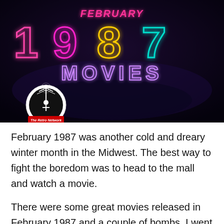[Figure (illustration): Dark neon-lit graphic with large text '1987 MOVIES' and 'FEBRUARY' above it in pink neon script, with 'The Retro Network' logo (circular black and white emblem) in the lower left corner. The background is dark purple/black with atmospheric lighting.]
February 1987 was another cold and dreary winter month in the Midwest. The best way to fight the boredom was to head to the mall and watch a movie.
There were some great movies released in February 1987 and a couple of bombs. I went to see as many as I could. Some of them didn't make